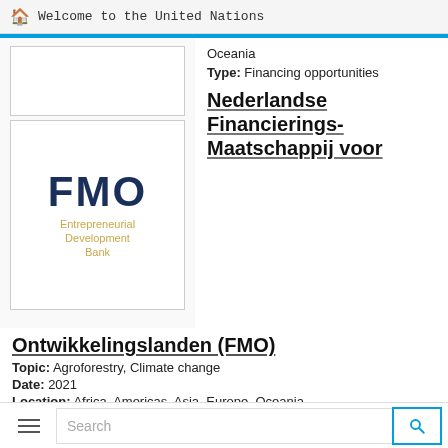Welcome to the United Nations
[Figure (logo): Empty white box placeholder image]
[Figure (logo): FMO Entrepreneurial Development Bank logo — dark blue FMO text with gold subtitle]
Oceania
Type: Financing opportunities
Nederlandse Financierings-Maatschappij voor
Ontwikkelingslanden (FMO)
Topic: Agroforestry, Climate change
Date: 2021
Location: Africa, Americas, Asia, Europe, Oceania
Search